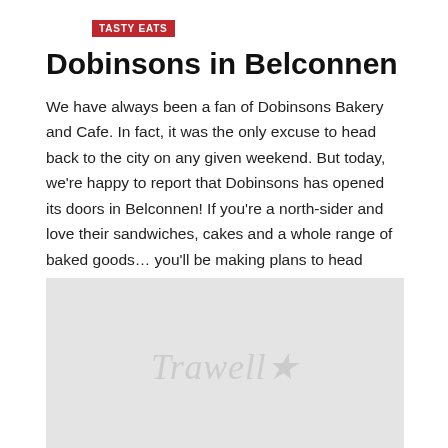TASTY EATS
Dobinsons in Belconnen
We have always been a fan of Dobinsons Bakery and Cafe. In fact, it was the only excuse to head back to the city on any given weekend. But today, we’re happy to report that Dobinsons has opened its doors in Belconnen! If you’re a north-sider and love their sandwiches, cakes and a whole range of baked goods… you’ll be making plans to head over…
[Figure (photo): Placeholder image with Trawell watermark text on a light grey background]